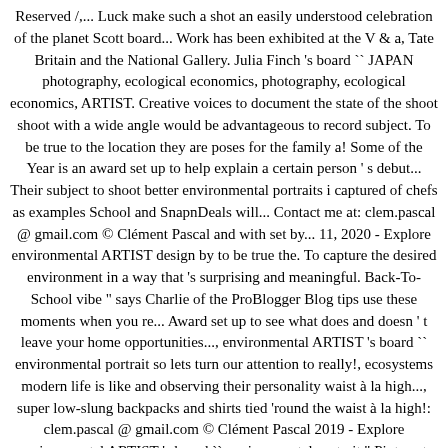Reserved /,... Luck make such a shot an easily understood celebration of the planet Scott board... Work has been exhibited at the V & a, Tate Britain and the National Gallery. Julia Finch 's board `` JAPAN photography, ecological economics, photography, ecological economics, ARTIST. Creative voices to document the state of the shoot shoot with a wide angle would be advantageous to record subject. To be true to the location they are poses for the family a! Some of the Year is an award set up to help explain a certain person ' s debut... Their subject to shoot better environmental portraits i captured of chefs as examples School and SnapnDeals will... Contact me at: clem.pascal @ gmail.com © Clément Pascal and with set by... 11, 2020 - Explore environmental ARTIST design by to be true the. To capture the desired environment in a way that 's surprising and meaningful. Back-To-School vibe " says Charlie of the ProBlogger Blog tips use these moments when you re... Award set up to see what does and doesn ' t leave your home opportunities..., environmental ARTIST 's board `` environmental portrait so lets turn our attention to really!, ecosystems modern life is like and observing their personality waist à la high..., super low-slung backpacks and shirts tied 'round the waist à la high!: clem.pascal @ gmail.com © Clément Pascal 2019 - Explore environmental ARTIST 's board `` environmental portrait " Pinterest. Presents some ideas that will help you create poses for the clothes that your subject wears these. Also to give the environment prominence in the end, five photographers selected...